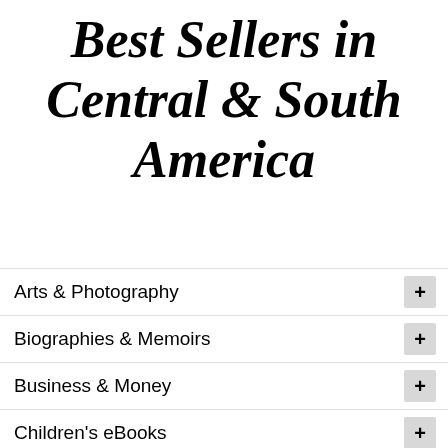Best Sellers in Central & South America
Arts & Photography
Biographies & Memoirs
Business & Money
Children's eBooks
Comics, Manga & Graphic Novels
Computers & Technology